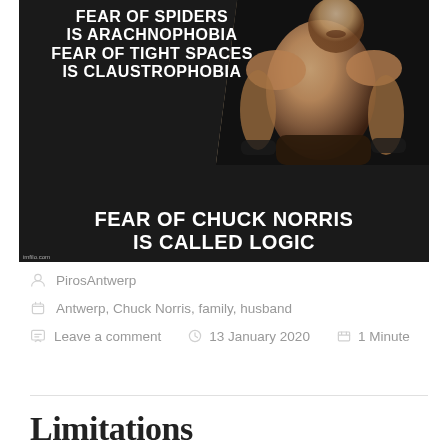[Figure (illustration): Meme image with black background and a muscular man. Text reads: 'FEAR OF SPIDERS IS ARACHNOPHOBIA FEAR OF TIGHT SPACES IS CLAUSTROPHOBIA FEAR OF CHUCK NORRIS IS CALLED LOGIC'. Watermark: imfilo.com]
PirosAntwerp
Antwerp, Chuck Norris, family, husband
Leave a comment   13 January 2020   1 Minute
Limitations